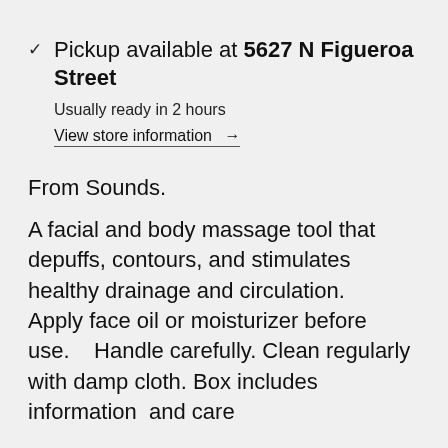Pickup available at 5627 N Figueroa Street
Usually ready in 2 hours
View store information →
From Sounds.
A facial and body massage tool that depuffs, contours, and stimulates healthy drainage and circulation.    Apply face oil or moisturizer before use.    Handle carefully. Clean regularly with damp cloth. Box includes  information  and care